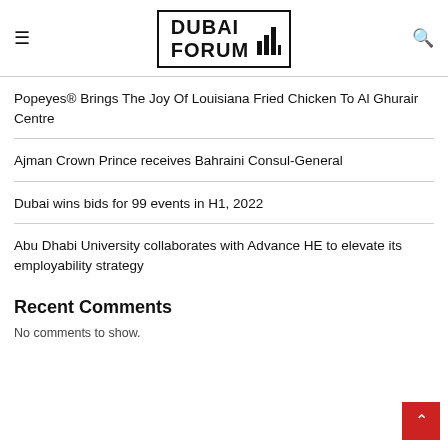DUBAI FORUM
Popeyes® Brings The Joy Of Louisiana Fried Chicken To Al Ghurair Centre
Ajman Crown Prince receives Bahraini Consul-General
Dubai wins bids for 99 events in H1, 2022
Abu Dhabi University collaborates with Advance HE to elevate its employability strategy
Recent Comments
No comments to show.